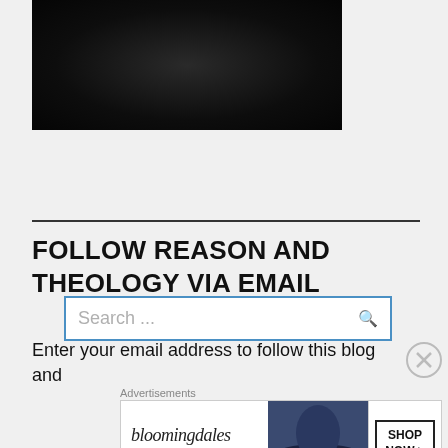[Figure (photo): Dark textured background image, nearly black with subtle texture]
Search ...
FOLLOW REASON AND THEOLOGY VIA EMAIL
Enter your email address to follow this blog and
[Figure (illustration): Bloomingdale's advertisement banner with logo, 'View Today's Top Deals!' tagline, image of woman in wide-brim hat, and 'SHOP NOW >' button]